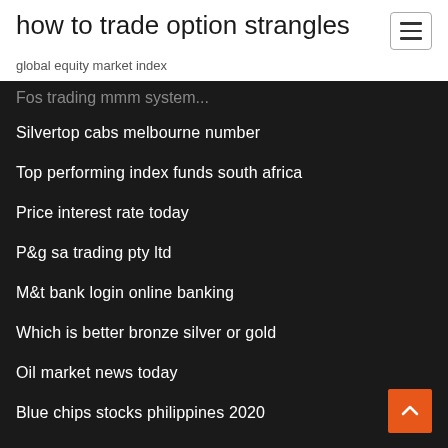how to trade option strangles
global equity market index
Fos trading mmm system...
Silvertop cabs melbourne number
Top performing index funds south africa
Price interest rate today
P&g sa trading pty ltd
M&t bank login online banking
Which is better bronze silver or gold
Oil market news today
Blue chips stocks philippines 2020
Tags